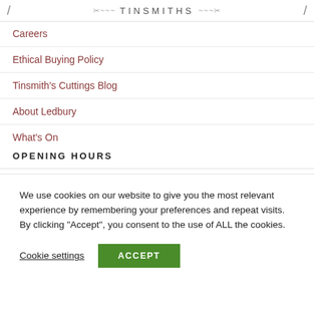TINSMITHS
Careers
Ethical Buying Policy
Tinsmith's Cuttings Blog
About Ledbury
What's On
OPENING HOURS
We use cookies on our website to give you the most relevant experience by remembering your preferences and repeat visits. By clicking "Accept", you consent to the use of ALL the cookies.
Cookie settings | ACCEPT